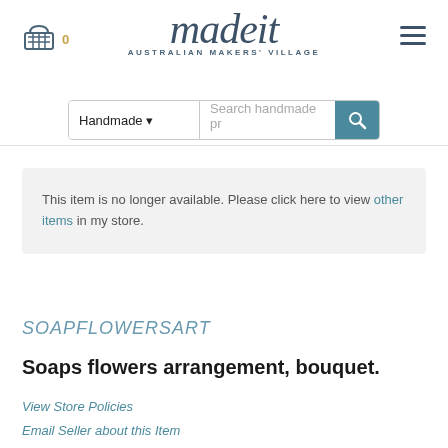[Figure (logo): Madeit Australian Makers' Village logo with basket icon and hamburger menu]
Handmade ▾   Search handmade pr 🔍
This item is no longer available. Please click here to view other items in my store.
SOAPFLOWERSART
Soaps flowers arrangement, bouquet.
View Store Policies
Email Seller about this Item